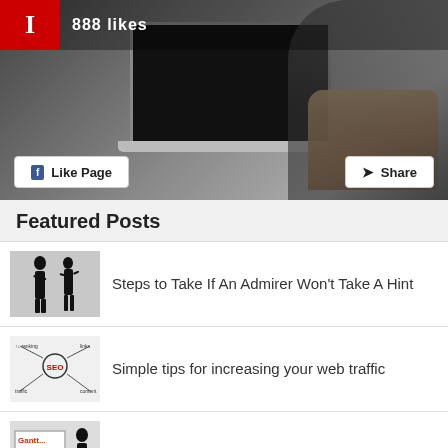[Figure (screenshot): Facebook page banner showing a red logo, '888 likes' text, a photo of a person using a laptop, and two buttons: 'Like Page' and 'Share']
Featured Posts
Steps to Take If An Admirer Won't Take A Hint
Simple tips for increasing your web traffic
Project & Portfolio Management For Dummies
The Best Frameworks for Building Mobile Apps
Brainstorming For Date Ideas: Quick Searches For Fun Ideas